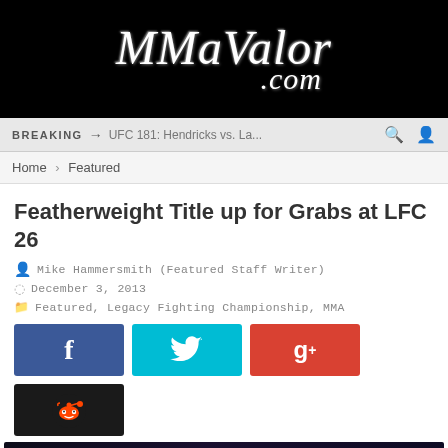[Figure (logo): MMaValor.com logo in white italic script on black background]
BREAKING → UFC 181: Hendricks vs. La...
Home > Featured
Featherweight Title up for Grabs at LFC 26
Mike Hammersmith (Featured Staff Writer)
December 3, 2013
Featured, Legacy Fighting Championship, MMA
[Figure (infographic): Social sharing buttons: Facebook (blue), Twitter (cyan), Google+ (red), Reddit (dark)]
[Figure (photo): LFC 26 event promotional banner: Cowboys Dancehall, San Antonio TX with fighter silhouettes]